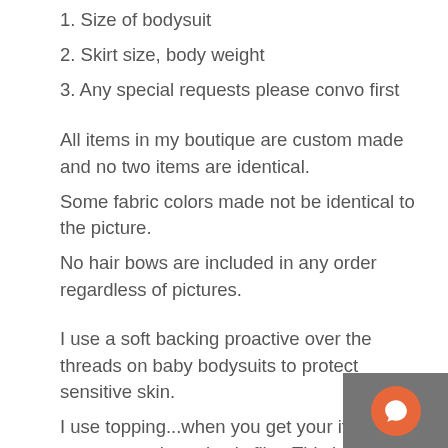1. Size of bodysuit
2. Skirt size, body weight
3. Any special requests please convo first
All items in my boutique are custom made and no two items are identical.
Some fabric colors made not be identical to the picture.
No hair bows are included in any order regardless of pictures.
I use a soft backing proactive over the threads on baby bodysuits to protect sensitive skin.
I use topping...when you get your item, you may see a clear plastic film. This is water soluble stabilizer